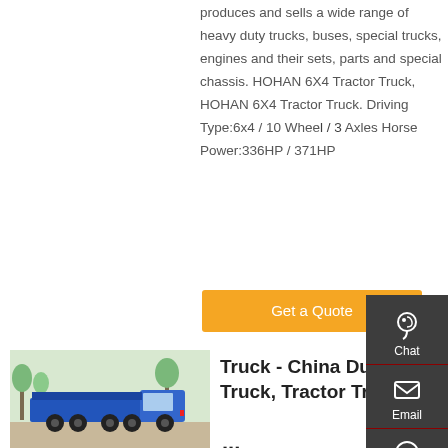produces and sells a wide range of heavy duty trucks, buses, special trucks, engines and their sets, parts and special chassis. HOHAN 6X4 Tractor Truck, HOHAN 6X4 Tractor Truck. Driving Type:6x4 / 10 Wheel / 3 Axles Horse Power:336HP / 371HP
Get a Quote
[Figure (photo): Blue dump truck parked outdoors with trees in background]
Truck - China Dump Truck, Tractor Truck ...